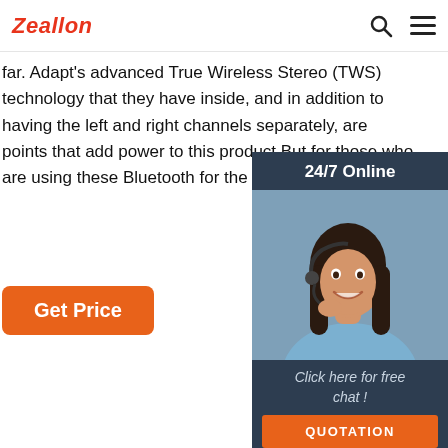Zeallon
far. Adapt's advanced True Wireless Stereo (TWS) technology that they have inside, and in addition to having the left and right channels separately, are points that add power to this product.But for those who are using these Bluetooth for the first ...
Get Price
[Figure (infographic): Customer service chat widget with '24/7 Online' header, photo of smiling woman with headset, 'Click here for free chat!' text, and orange QUOTATION button]